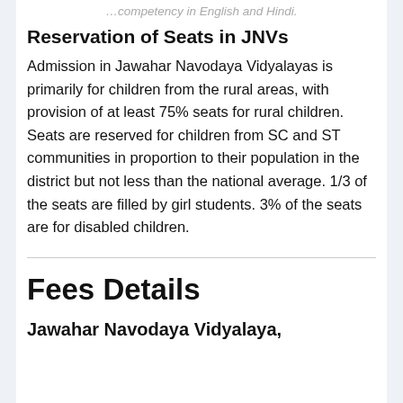…competency in English and Hindi.
Reservation of Seats in JNVs
Admission in Jawahar Navodaya Vidyalayas is primarily for children from the rural areas, with provision of at least 75% seats for rural children. Seats are reserved for children from SC and ST communities in proportion to their population in the district but not less than the national average. 1/3 of the seats are filled by girl students. 3% of the seats are for disabled children.
Fees Details
Jawahar Navodaya Vidyalaya,